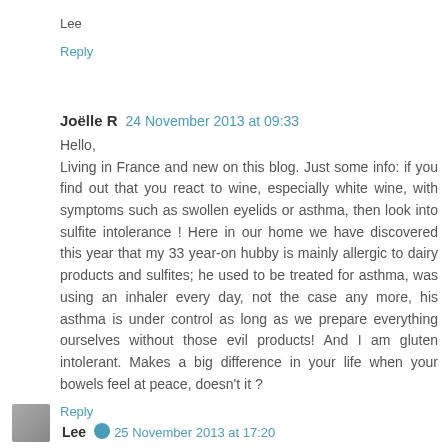Lee
Reply
Joëlle R  24 November 2013 at 09:33
Hello,
Living in France and new on this blog. Just some info: if you find out that you react to wine, especially white wine, with symptoms such as swollen eyelids or asthma, then look into sulfite intolerance ! Here in our home we have discovered this year that my 33 year-on hubby is mainly allergic to dairy products and sulfites; he used to be treated for asthma, was using an inhaler every day, not the case any more, his asthma is under control as long as we prepare everything ourselves without those evil products! And I am gluten intolerant. Makes a big difference in your life when your bowels feel at peace, doesn't it ?
Reply
Lee  25 November 2013 at 17:20